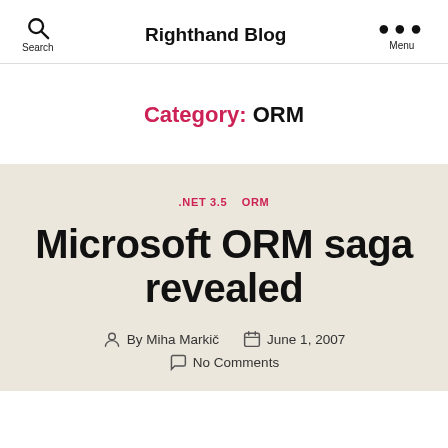Righthand Blog
Category: ORM
.NET 3.5  ORM
Microsoft ORM saga revealed
By Miha Markič   June 1, 2007   No Comments